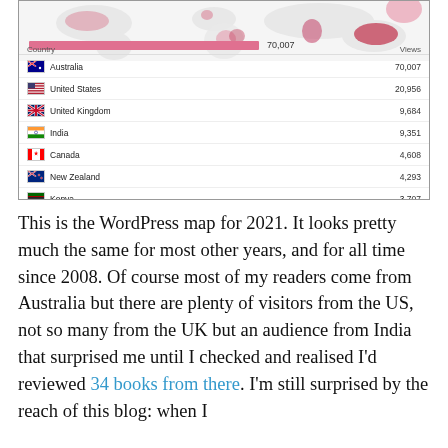[Figure (table-as-image): WordPress stats map and country views table for 2021. Shows world map with pink highlights and a table listing: Australia 70,007; United States 20,956; United Kingdom 9,684; India 9,351; Canada 4,608; New Zealand 4,293; Kenya 3,707; Philippines 2,797.]
This is the WordPress map for 2021.  It looks pretty much the same for most other years, and for all time since 2008.  Of course most of my readers come from Australia but there are plenty of visitors from the US, not so many from the UK but an audience from India that surprised me until I checked and realised I'd reviewed 34 books from there.  I'm still surprised by the reach of this blog: when I